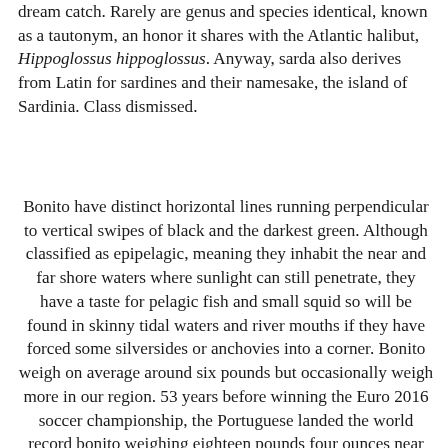dream catch. Rarely are genus and species identical, known as a tautonym, an honor it shares with the Atlantic halibut, Hippoglossus hippoglossus. Anyway, sarda also derives from Latin for sardines and their namesake, the island of Sardinia. Class dismissed.
Bonito have distinct horizontal lines running perpendicular to vertical swipes of black and the darkest green. Although classified as epipelagic, meaning they inhabit the near and far shore waters where sunlight can still penetrate, they have a taste for pelagic fish and small squid so will be found in skinny tidal waters and river mouths if they have forced some silversides or anchovies into a corner. Bonito weigh on average around six pounds but occasionally weigh more in our region. 53 years before winning the Euro 2016 soccer championship, the Portuguese landed the world record bonito weighing eighteen pounds four ounces near Faial Island in the Azores.